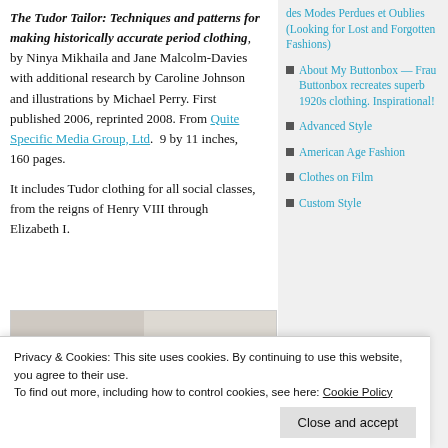The Tudor Tailor: Techniques and patterns for making historically accurate period clothing, by Ninya Mikhaila and Jane Malcolm-Davies with additional research by Caroline Johnson and illustrations by Michael Perry. First published 2006, reprinted 2008. From Quite Specific Media Group, Ltd. 9 by 11 inches, 160 pages.
It includes Tudor clothing for all social classes, from the reigns of Henry VIII through Elizabeth I.
[Figure (photo): Two black and white photos of people wearing dark hats, shown from the neck up against a light background.]
des Modes Perdues et Oublies (Looking for Lost and Forgotten Fashions)
About My Buttonbox — Frau Buttonbox recreates superb 1920s clothing. Inspirational!
Advanced Style
American Age Fashion
Clothes on Film
Custom Style
Privacy & Cookies: This site uses cookies. By continuing to use this website, you agree to their use. To find out more, including how to control cookies, see here: Cookie Policy
Close and accept